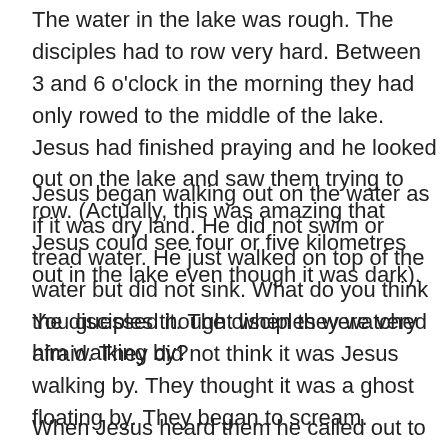The water in the lake was rough. The disciples had to row very hard. Between 3 and 6 o'clock in the morning they had only rowed to the middle of the lake. Jesus had finished praying and he looked out on the lake and saw them trying to row. (Actually, this was amazing that Jesus could see four or five kilometres out in the lake even though it was dark).
Jesus began walking out on the water as if it was dry land. He did not swim or tread water. He just walked on top of the water but did not sink. What do you think the disciples thought when they watched him walking by?
You guessed it. The disciples were very afraid. They did not think it was Jesus walking by. They thought it was a ghost floating by. They began to scream.
When Jesus heard them he called out to his friends, “Take courage! Don’t be afraid.”